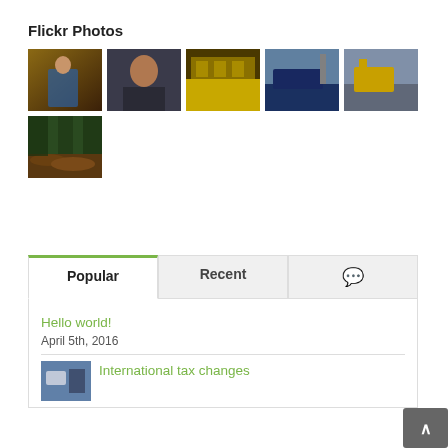Flickr Photos
[Figure (photo): Grid of 6 Flickr photo thumbnails: person in lounge, man portrait, industrial yellow structure, ship at port, forklift at port, forest with logs]
[Figure (screenshot): Tab widget with Popular, Recent, and comment icon tabs. Popular tab active with green top border. Content shows 'Hello world!' post dated April 5th, 2016, and 'International tax changes' post with thumbnail.]
Hello world!
April 5th, 2016
International tax changes